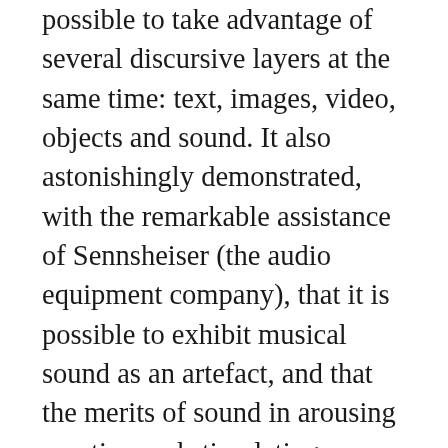possible to take advantage of several discursive layers at the same time: text, images, video, objects and sound. It also astonishingly demonstrated, with the remarkable assistance of Sennsheiser (the audio equipment company), that it is possible to exhibit musical sound as an artefact, and that the merits of sound in arousing emotion and stimulating engagement are rendered particularly significant in the light of the current demands of museum practice. In short, this history means we are forever in debt to the V&A's influence in challenging the forces and relations which have sustained the